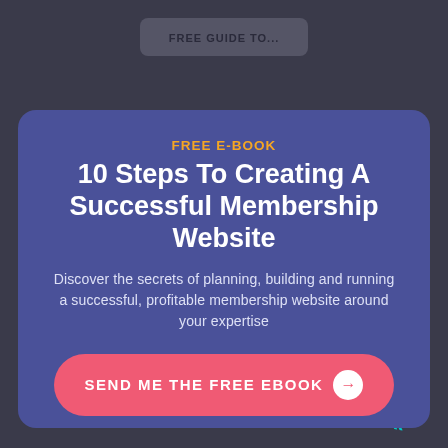FREE GUIDE TO...
FREE E-BOOK
10 Steps To Creating A Successful Membership Website
Discover the secrets of planning, building and running a successful, profitable membership website around your expertise
SEND ME THE FREE EBOOK →